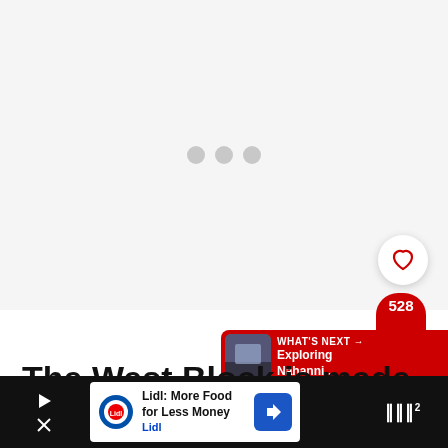[Figure (screenshot): Video player loading state with three grey dots centered on a light grey background]
[Figure (screenshot): Heart/like button (white circle with red heart outline) showing 528 likes, and a red share button below it]
[Figure (screenshot): WHAT'S NEXT banner in red with thumbnail image and text 'Exploring Nahanni...']
The West Block is made up of prairie grasslands and coulees.
[Figure (screenshot): Advertisement bar: Lidl: More Food for Less Money / Lidl, with navigation icon, play and close buttons on dark background]